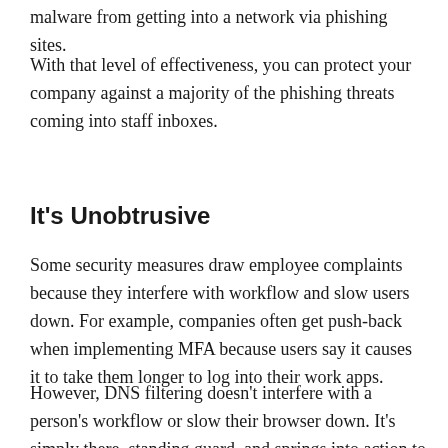malware from getting into a network via phishing sites.
With that level of effectiveness, you can protect your company against a majority of the phishing threats coming into staff inboxes.
It's Unobtrusive
Some security measures draw employee complaints because they interfere with workflow and slow users down. For example, companies often get push-back when implementing MFA because users say it causes it to take them longer to log into their work apps.
However, DNS filtering doesn't interfere with a person's workflow or slow their browser down. It's simply there, standing guard, and springs into action to warn the user about the most latest threats to discourage and limit